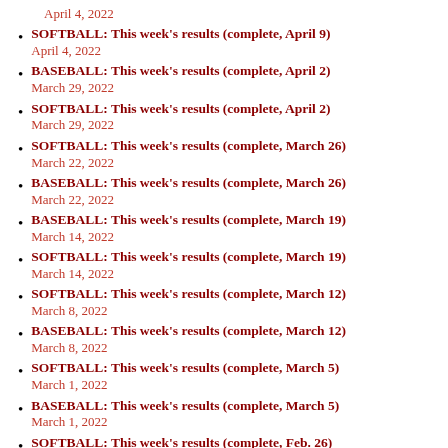April 4, 2022
SOFTBALL: This week's results (complete, April 9)
April 4, 2022
BASEBALL: This week's results (complete, April 2)
March 29, 2022
SOFTBALL: This week's results (complete, April 2)
March 29, 2022
SOFTBALL: This week's results (complete, March 26)
March 22, 2022
BASEBALL: This week's results (complete, March 26)
March 22, 2022
BASEBALL: This week's results (complete, March 19)
March 14, 2022
SOFTBALL: This week's results (complete, March 19)
March 14, 2022
SOFTBALL: This week's results (complete, March 12)
March 8, 2022
BASEBALL: This week's results (complete, March 12)
March 8, 2022
SOFTBALL: This week's results (complete, March 5)
March 1, 2022
BASEBALL: This week's results (complete, March 5)
March 1, 2022
SOFTBALL: This week's results (complete, Feb. 26)
February 22, 2022
BASEBALL: This week's results (complete, Feb. 26)